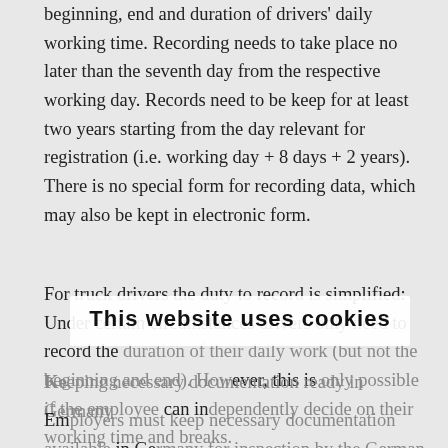beginning, end and duration of drivers' daily working time. Recording needs to take place no later than the seventh day from the respective working day. Records need to be keep for at least two years starting from the day relevant for registration (i.e. working day + 8 days + 2 years). There is no special form for recording data, which may also be kept in electronic form.
For truck drivers the duty to record is simplified: Under certain circumstances drivers only need to record the duration of their daily work (but not the beginning and end). However, this is only possible if the employee can independently decide on their working time and breaks.
Keeping necessary documentation ready in Germany
Employers must keep necessary documentation available in Germany for inspection by the German customs authorities (who are competent to check compliance with minimum...